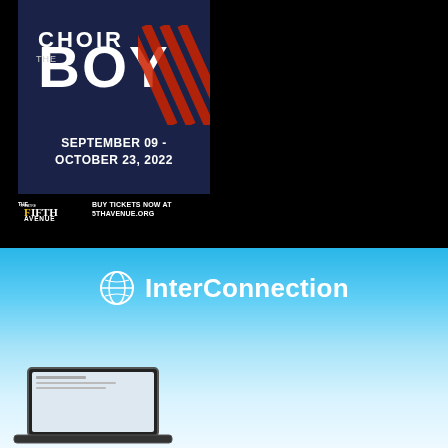[Figure (illustration): Theatre poster for 'The Choir Boy' at The Fifth Avenue Theatre. Dark navy background with large bold white text 'BOY' and dates 'September 09 - October 23, 2022'. Red diagonal stripe accent. Fifth Avenue Theatre logo with text 'BUY TICKETS NOW AT 5THAVENUE.ORG' below.]
[Figure (logo): InterConnection advertisement banner with sky-blue gradient background, InterConnection logo (basketball-like globe icon) and name in white. Bottom shows a laptop computer partially visible.]